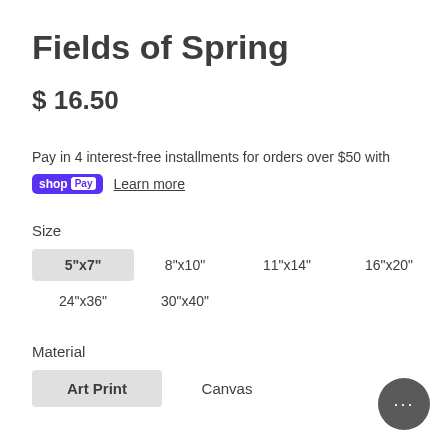Fields of Spring
$ 16.50
Pay in 4 interest-free installments for orders over $50 with
shopPay  Learn more
Size
5"x7"  8"x10"  11"x14"  16"x20"  18"x24"  24"x36"  30"x40"
Material
Art Print  Canvas